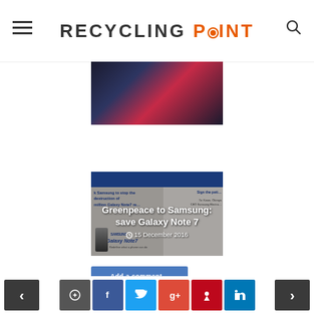RECYCLING POINT
[Figure (photo): Dark colorful background image, top portion of article card]
[Figure (screenshot): Article card showing Greenpeace petition to Samsung about Galaxy Note 7, with overlay text: 'Greenpeace to Samsung: save Galaxy Note 7' and date '15 December 2016']
[Figure (other): Add a comment button (blue)]
< comment facebook twitter google+ pinterest linkedin >